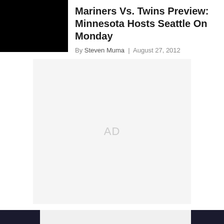[Figure (photo): Black image placeholder (article thumbnail)]
Mariners Vs. Twins Preview: Minnesota Hosts Seattle On Monday
By Steven Muma  |  August 27, 2012
[Figure (other): Advertisement placeholder with text 'AD']